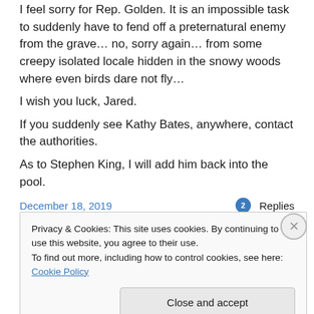I feel sorry for Rep. Golden. It is an impossible task to suddenly have to fend off a preternatural enemy from the grave… no, sorry again… from some creepy isolated locale hidden in the snowy woods where even birds dare not fly…
I wish you luck, Jared.
If you suddenly see Kathy Bates, anywhere, contact the authorities.
As to Stephen King, I will add him back into the pool.
December 18, 2019   2 Replies
Privacy & Cookies: This site uses cookies. By continuing to use this website, you agree to their use. To find out more, including how to control cookies, see here: Cookie Policy
Close and accept